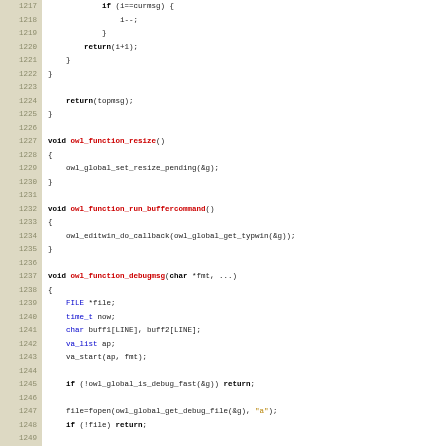[Figure (screenshot): Source code listing in C from lines 1217 to 1249, showing functions owl_function_resize, owl_function_run_buffercommand, and owl_function_debugmsg with syntax highlighting. Line numbers shown on left in beige/tan background.]